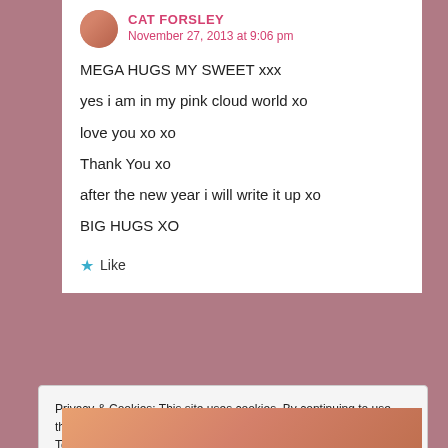CAT FORSLEY
November 27, 2013 at 9:06 pm
MEGA HUGS MY SWEET xxx

yes i am in my pink cloud world xo

love you xo xo

Thank You xo

after the new year i will write it up xo

BIG HUGS XO
Like
Privacy & Cookies: This site uses cookies. By continuing to use this website, you agree to their use.
To find out more, including how to control cookies, see here: Cookie Policy
Close and accept